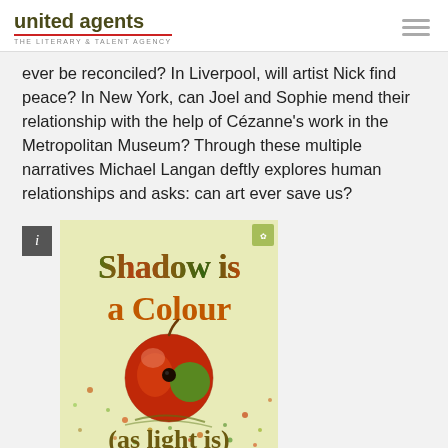united agents THE LITERARY & TALENT AGENCY
ever be reconciled? In Liverpool, will artist Nick find peace? In New York, can Joel and Sophie mend their relationship with the help of Cézanne's work in the Metropolitan Museum? Through these multiple narratives Michael Langan deftly explores human relationships and asks: can art ever save us?
[Figure (illustration): Book cover for 'Shadow is a Colour (as light is)' featuring multicoloured text on a pale yellow-green background with a painterly apple in red and green at the centre, and scattered coloured dots/speckles throughout.]